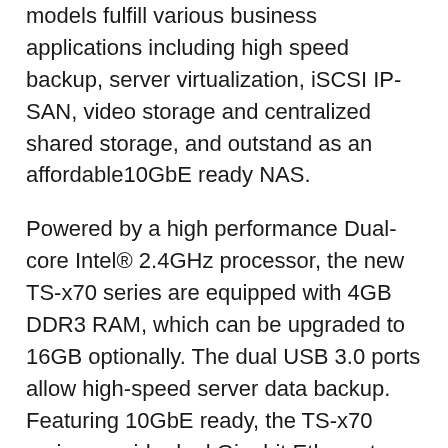models fulfill various business applications including high speed backup, server virtualization, iSCSI IP-SAN, video storage and centralized shared storage, and outstand as an affordable10GbE ready NAS.
Powered by a high performance Dual-core Intel® 2.4GHz processor, the new TS-x70 series are equipped with 4GB DDR3 RAM, which can be upgraded to 16GB optionally. The dual USB 3.0 ports allow high-speed server data backup. Featuring 10GbE ready, the TS-x70 series provide dual Gigabit Ethernet ports, which can be expanded up to six Gigabit Ethernet ports, or four 10 Gigabit Ethernet ports plus two Gigabit Ethernet ports, benefit in aggregating and boosting network performance. "The TS-x70 series are proficient to fulfill mission-critical storage needs of small and medium businesses with maximum system uptime," said David Tao, product manager of QNAP. "The 10GbE